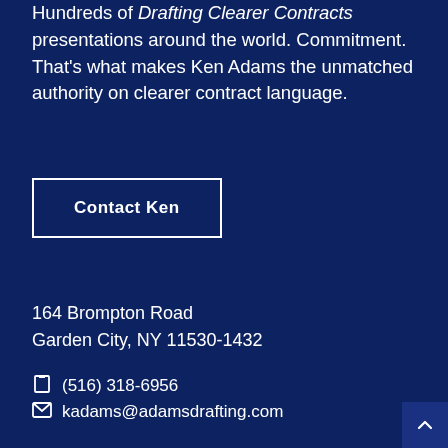Hundreds of Drafting Clearer Contracts presentations around the world. Commitment. That's what makes Ken Adams the unmatched authority on clearer contract language.
Contact Ken
164 Brompton Road
Garden City, NY 11530-1432
(516) 318-6956
kadams@adamsdrafting.com